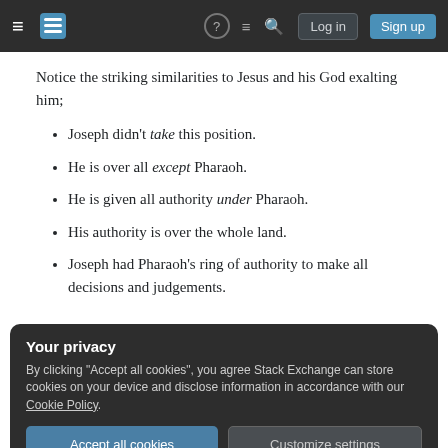Stack Exchange navigation bar with logo, help, chat, search, Log in, Sign up
Notice the striking similarities to Jesus and his God exalting him;
Joseph didn't take this position.
He is over all except Pharaoh.
He is given all authority under Pharaoh.
His authority is over the whole land.
Joseph had Pharaoh's ring of authority to make all decisions and judgements.
Your privacy
By clicking "Accept all cookies", you agree Stack Exchange can store cookies on your device and disclose information in accordance with our Cookie Policy.
Accept all cookies  Customize settings
we can hear the echo of, "let all God's angels